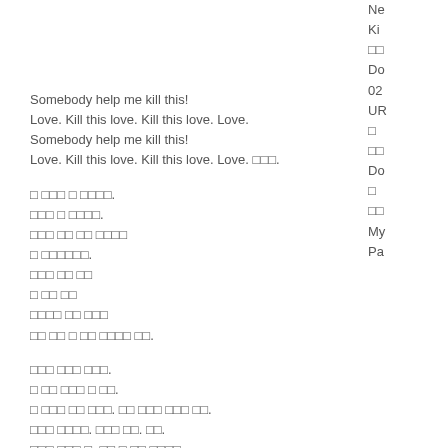Ne
Ki
□□
Do
02
UR
□
□□
Do
□
□□
My
Pa
Somebody help me kill this!
Love. Kill this love. Kill this love. Love.
Somebody help me kill this!
Love. Kill this love. Kill this love. Love. □□□.
□ □□□ □ □□□□.
□□□ □ □□□□.
□□□ □□ □□ □□□□
□ □□□□□□.
□□□ □□ □□
□ □□ □□
□□□□ □□ □□□
□□ □□ □ □□ □□□□ □□.
□□□ □□□ □□□.
□ □□ □□□ □ □□.
□ □□□ □□ □□□. □□ □□□ □□□ □□.
□□□ □□□□. □□□ □□. □□.
□□□ □□□ □. □□ □ □□ □□□□.
□ □ □□□□.